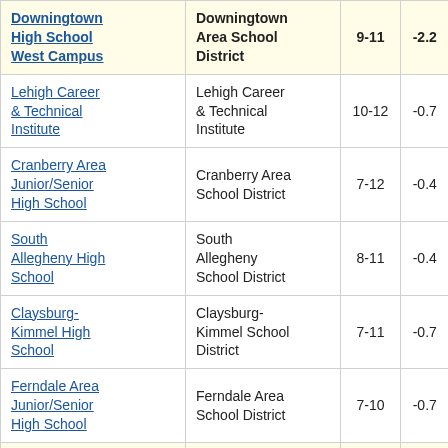| School | District | Grades | Change |
| --- | --- | --- | --- |
| Downingtown High School West Campus | Downingtown Area School District | 9-11 | -2.2 |
| Lehigh Career & Technical Institute | Lehigh Career & Technical Institute | 10-12 | -0.7 |
| Cranberry Area Junior/Senior High School | Cranberry Area School District | 7-12 | -0.4 |
| South Allegheny High School | South Allegheny School District | 8-11 | -0.4 |
| Claysburg-Kimmel High School | Claysburg-Kimmel School District | 7-11 | -0.7 |
| Ferndale Area Junior/Senior High School | Ferndale Area School District | 7-10 | -0.7 |
| Columbia High | Columbia |  |  |